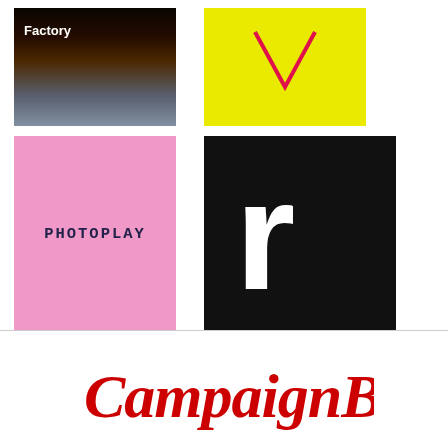[Figure (logo): Tool Factory logo: dark brown/black background with earth/space atmosphere, white text reading 'Factory' with astronaut figure]
[Figure (logo): Yellow background with a red/pink V-shaped chevron outline]
[Figure (logo): Pink square background with bold monospaced text 'PHOTOPLAY' in dark navy]
[Figure (logo): Black square with large white lowercase letter 'r' and a white circle dot below it]
[Figure (logo): Campaign Brief logo in red cursive/script lettering on white background]